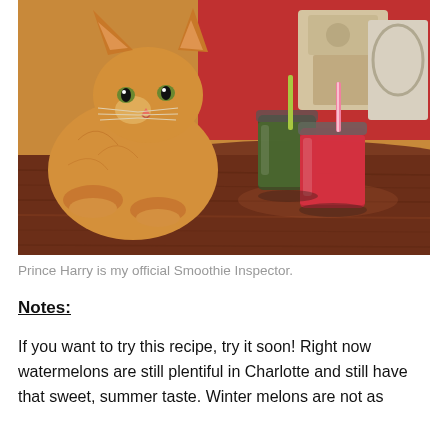[Figure (photo): An orange tabby cat sitting on a wooden round table, looking at the camera. Two mason jars with smoothies (one dark green, one red/watermelon) with striped straws are on the table in front of the cat. Background shows a cat tree and chairs.]
Prince Harry is my official Smoothie Inspector.
Notes:
If you want to try this recipe, try it soon! Right now watermelons are still plentiful in Charlotte and still have that sweet, summer taste. Winter melons are not as flavorful.